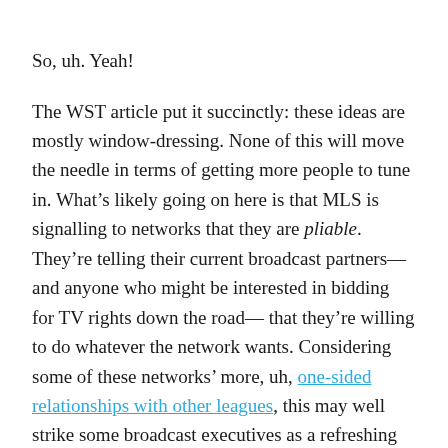So, uh. Yeah!
The WST article put it succinctly: these ideas are mostly window-dressing. None of this will move the needle in terms of getting more people to tune in. What’s likely going on here is that MLS is signalling to networks that they are pliable. They’re telling their current broadcast partners— and anyone who might be interested in bidding for TV rights down the road— that they’re willing to do whatever the network wants. Considering some of these networks’ more, uh, one-sided relationships with other leagues, this may well strike some broadcast executives as a refreshing change of pace.